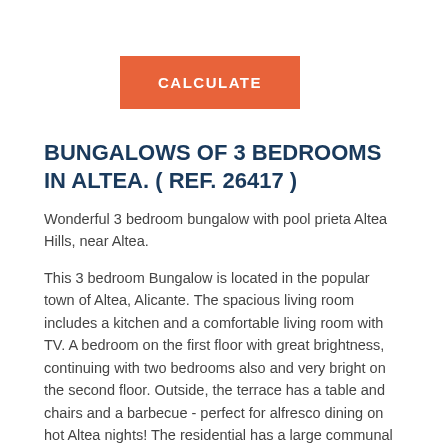[Figure (other): Orange/coral button with text CALCULATE]
BUNGALOWS OF 3 BEDROOMS IN ALTEA. ( REF. 26417 )
Wonderful 3 bedroom bungalow with pool prieta Altea Hills, near Altea.
This 3 bedroom Bungalow is located in the popular town of Altea, Alicante. The spacious living room includes a kitchen and a comfortable living room with TV. A bedroom on the first floor with great brightness, continuing with two bedrooms also and very bright on the second floor. Outside, the terrace has a table and chairs and a barbecue - perfect for alfresco dining on hot Altea nights! The residential has a large communal pool with large gardens where you can sunbathe comfortably. Altea has many good restaurants, bars and clubs, in addition to many shops and sites of historical interest.